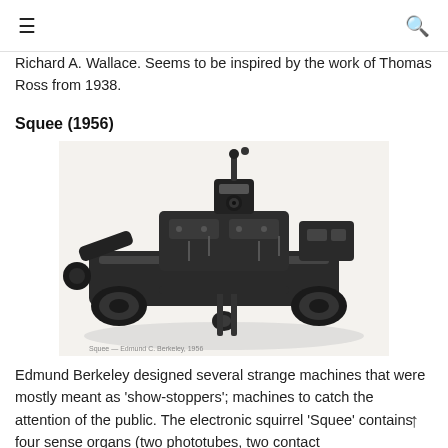≡   🔍
Richard A. Wallace. Seems to be inspired by the work of Thomas Ross from 1938.
Squee (1956)
[Figure (photo): Black and white photograph of the Squee robot — a mechanical device with various components including sensors, wheels, and mechanical parts arranged on a flat chassis, viewed from an angle above.]
Edmund Berkeley designed several strange machines that were mostly meant as 'show-stoppers'; machines to catch the attention of the public. The electronic squirrel 'Squee' contains four sense organs (two phototubes, two contact sensors). It can sense some of its environment.